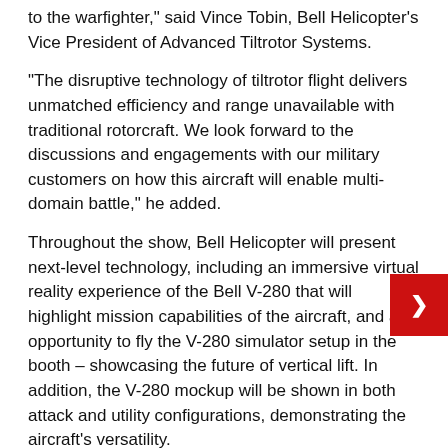to the warfighter," said Vince Tobin, Bell Helicopter's Vice President of Advanced Tiltrotor Systems.
“The disruptive technology of tiltrotor flight delivers unmatched efficiency and range unavailable with traditional rotorcraft. We look forward to the discussions and engagements with our military customers on how this aircraft will enable multi-domain battle,” he added.
Throughout the show, Bell Helicopter will present next-level technology, including an immersive virtual reality experience of the Bell V-280 that will highlight mission capabilities of the aircraft, and an opportunity to fly the V-280 simulator setup in the booth – showcasing the future of vertical lift. In addition, the V-280 mockup will be shown in both attack and utility configurations, demonstrating the aircraft's versatility.
The V-280 tiltrotor has been designed to provide unmatched speed, range and payload, along with unmatched agility at the objective. The aircraft will provide the best value in operations and maintenance costs, and is being designed with sustainability, affordability, and ease of manufacturing in mind.
The Bell V-247 tiltrotor is a Group 5 unmanned aerial system (UAS) that will combine the vertical lift capability of...